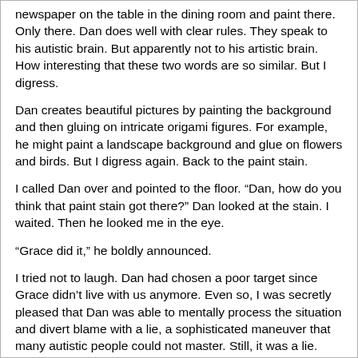newspaper on the table in the dining room and paint there. Only there. Dan does well with clear rules. They speak to his autistic brain. But apparently not to his artistic brain. How interesting that these two words are so similar. But I digress.
Dan creates beautiful pictures by painting the background and then gluing on intricate origami figures. For example, he might paint a landscape background and glue on flowers and birds. But I digress again. Back to the paint stain.
I called Dan over and pointed to the floor. “Dan, how do you think that paint stain got there?” Dan looked at the stain. I waited. Then he looked me in the eye.
“Grace did it,” he boldly announced.
I tried not to laugh. Dan had chosen a poor target since Grace didn’t live with us anymore. Even so, I was secretly pleased that Dan was able to mentally process the situation and divert blame with a lie, a sophisticated maneuver that many autistic people could not master. Still, it was a lie.